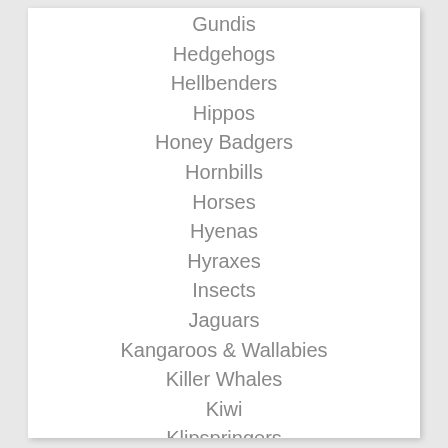Gundis
Hedgehogs
Hellbenders
Hippos
Honey Badgers
Hornbills
Horses
Hyenas
Hyraxes
Insects
Jaguars
Kangaroos & Wallabies
Killer Whales
Kiwi
Klipspringers
Vultures
Koalas
Komodo Dragons
Kudus